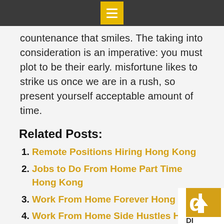Menu icon header bar
countenance that smiles. The taking into consideration is an imperative: you must plot to be their early. misfortune likes to strike us once we are in a rush, so present yourself acceptable amount of time.
Related Posts:
Remote Positions Hiring Hong Kong
Jobs to Do From Home Part Time Hong Kong
Work From Home Forever Hong Kong
Work From Home Side Hustles Hong Kong
May 13, 2022
admin
Hong Kong